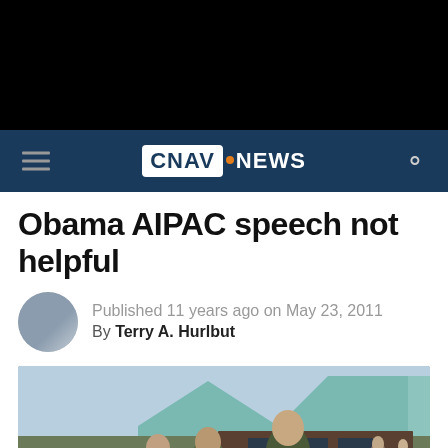CNAV.NEWS
Obama AIPAC speech not helpful
Published 11 years ago on May 23, 2011
By Terry A. Hurlbut
[Figure (photo): Soldiers in military uniforms standing near a building with a metal roof, outdoors on a sunny day.]